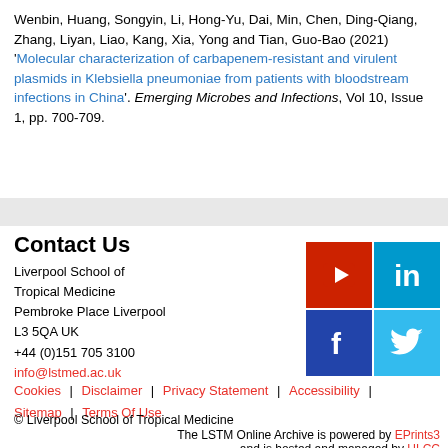Wenbin, Huang, Songyin, Li, Hong-Yu, Dai, Min, Chen, Ding-Qiang, Zhang, Liyan, Liao, Kang, Xia, Yong and Tian, Guo-Bao (2021) 'Molecular characterization of carbapenem-resistant and virulent plasmids in Klebsiella pneumoniae from patients with bloodstream infections in China'. Emerging Microbes and Infections, Vol 10, Issue 1, pp. 700-709.
Contact Us
Liverpool School of Tropical Medicine
Pembroke Place Liverpool
L3 5QA UK
+44 (0)151 705 3100
info@lstmed.ac.uk
[Figure (infographic): Social media icons: YouTube (red), LinkedIn (blue), Facebook (dark blue), Twitter (light blue)]
Cookies | Disclaimer | Privacy Statement | Accessibility | Sitemap | Terms Of Use
© Liverpool School of Tropical Medicine
The LSTM Online Archive is powered by EPrints3 and is hosted and managed by ULCC